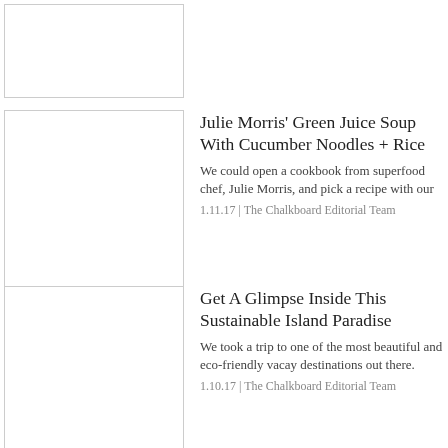[Figure (photo): Placeholder image box, partially visible at top]
[Figure (photo): Placeholder image box for Julie Morris Green Juice Soup article]
Julie Morris' Green Juice Soup With Cucumber Noodles + Rice
We could open a cookbook from superfood chef, Julie Morris, and pick a recipe with our
1.11.17 | The Chalkboard Editorial Team
[Figure (photo): Placeholder image box for Get A Glimpse Inside This Sustainable Island Paradise article]
Get A Glimpse Inside This Sustainable Island Paradise
We took a trip to one of the most beautiful and eco-friendly vacay destinations out there.
1.10.17 | The Chalkboard Editorial Team